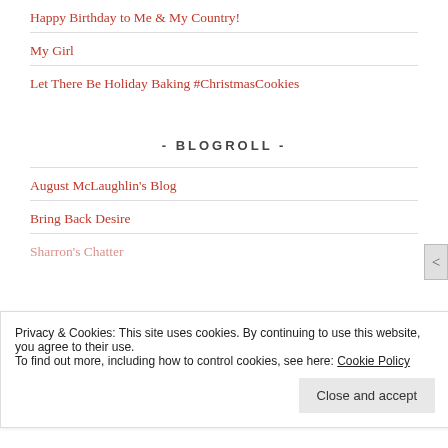Happy Birthday to Me & My Country!
My Girl
Let There Be Holiday Baking #ChristmasCookies
- BLOGROLL -
August McLaughlin's Blog
Bring Back Desire
Sharron's Chatter
Privacy & Cookies: This site uses cookies. By continuing to use this website, you agree to their use.
To find out more, including how to control cookies, see here: Cookie Policy
Close and accept